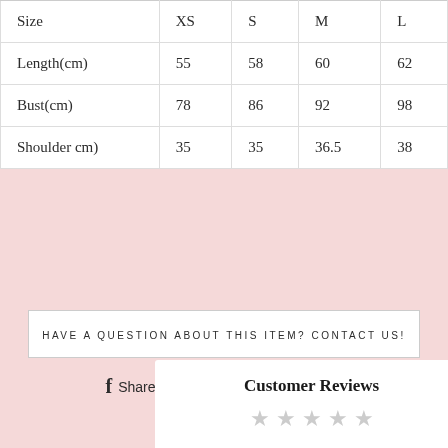| Size | XS | S | M | L |
| --- | --- | --- | --- | --- |
| Length(cm) | 55 | 58 | 60 | 62 |
| Bust(cm) | 78 | 86 | 92 | 98 |
| Shoulder cm) | 35 | 35 | 36.5 | 38 |
HAVE A QUESTION ABOUT THIS ITEM? CONTACT US!
Share   Tweet   Pin it
Customer Reviews